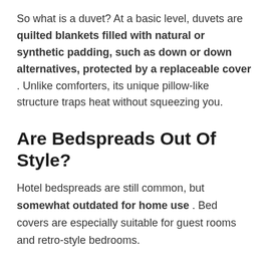So what is a duvet? At a basic level, duvets are quilted blankets filled with natural or synthetic padding, such as down or down alternatives, protected by a replaceable cover . Unlike comforters, its unique pillow-like structure traps heat without squeezing you.
Are Bedspreads Out Of Style?
Hotel bedspreads are still common, but somewhat outdated for home use . Bed covers are especially suitable for guest rooms and retro-style bedrooms.